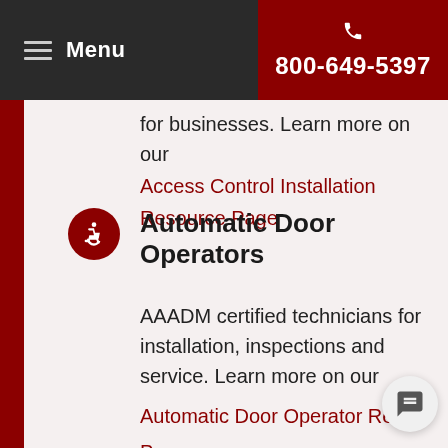Menu  800-649-5397
for businesses. Learn more on our Access Control Installation Resource Page
Automatic Door Operators
AAADM certified technicians for installation, inspections and service. Learn more on our Automatic Door Operator Resource Page